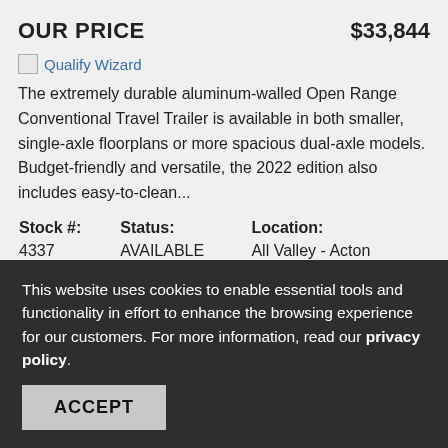OUR PRICE   $33,844
[Figure (other): Qualify Wizard image link with broken image icon]
The extremely durable aluminum-walled Open Range Conventional Travel Trailer is available in both smaller, single-axle floorplans or more spacious dual-axle models. Budget-friendly and versatile, the 2022 edition also includes easy-to-clean...
| Stock #: | Status: | Location: |
| --- | --- | --- |
| 4337 | AVAILABLE | All Valley - Acton |
This website uses cookies to enable essential tools and functionality in effort to enhance the browsing experience for our customers. For more information, read our privacy policy.
ACCEPT